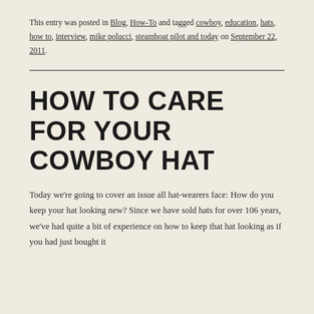This entry was posted in Blog, How-To and tagged cowboy, education, hats, how to, interview, mike polucci, steamboat pilot and today on September 22, 2011.
HOW TO CARE FOR YOUR COWBOY HAT
Today we're going to cover an issue all hat-wearers face: How do you keep your hat looking new? Since we have sold hats for over 106 years, we've had quite a bit of experience on how to keep that hat looking as if you had just bought it